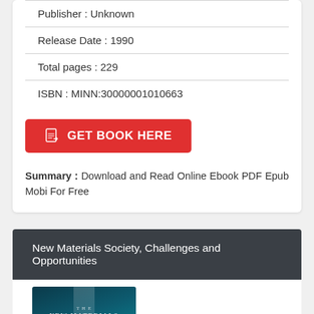Publisher : Unknown
Release Date : 1990
Total pages : 229
ISBN : MINN:30000001010663
GET BOOK HERE
Summary : Download and Read Online Ebook PDF Epub Mobi For Free
New Materials Society, Challenges and Opportunities
[Figure (photo): Book cover of 'The New Materials Society – Challenges and Opportunities', dark teal/blue background with illuminated beam effect and white text]